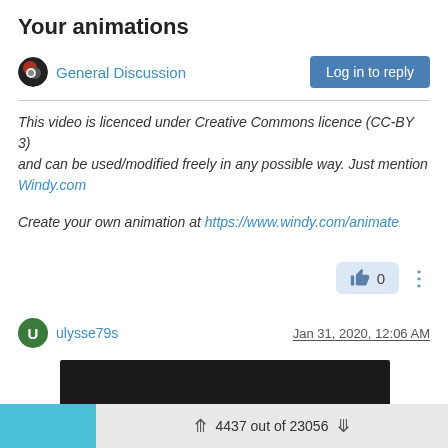Your animations
General Discussion | Log in to reply
This video is licenced under Creative Commons licence (CC-BY 3) and can be used/modified freely in any possible way. Just mention Windy.com
Create your own animation at https://www.windy.com/animate
👍 0
ulysse79s  Jan 31, 2020, 12:06 AM
[Figure (screenshot): Dark/black video thumbnail embed]
4437 out of 23056